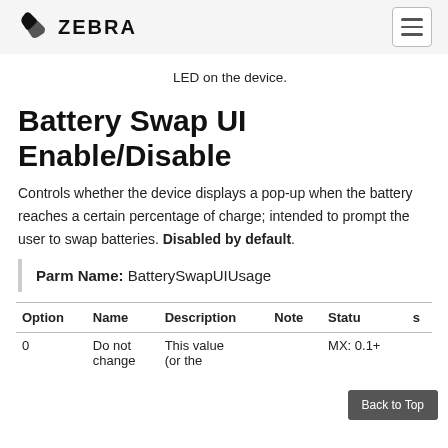ZEBRA
LED on the device.
Battery Swap UI Enable/Disable
Controls whether the device displays a pop-up when the battery reaches a certain percentage of charge; intended to prompt the user to swap batteries. Disabled by default.
Parm Name: BatterySwapUIUsage
| Option | Name | Description | Note | Status | s |
| --- | --- | --- | --- | --- | --- |
| 0 | Do not change | This value (or the |  | MX: 0.1+ |  |